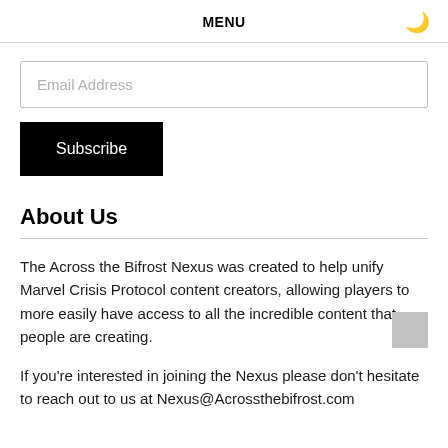MENU
Email Address
Subscribe
About Us
The Across the Bifrost Nexus was created to help unify Marvel Crisis Protocol content creators, allowing players to more easily have access to all the incredible content that people are creating.
If you're interested in joining the Nexus please don't hesitate to reach out to us at Nexus@Acrossthebifrost.com